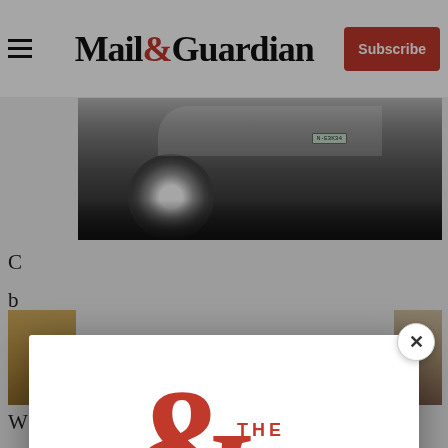Mail&Guardian | Subscribe
[Figure (photo): Partial view of a white/silver Audi car front and wheel, photographed on dark pavement, with a German license plate visible]
C... b...
[Figure (screenshot): Mail & Guardian newsletter signup modal popup featuring The Ampersand logo (large red ampersand with 'THE AMPERSAND' text), tagline 'Stay informed. Every weekday.', email address input field, and a red 'Signup now' button]
W...